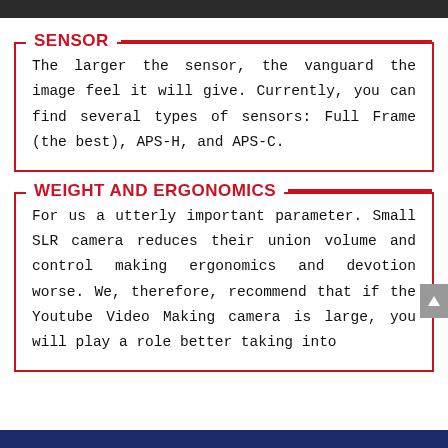SENSOR
The larger the sensor, the vanguard the image feel it will give. Currently, you can find several types of sensors: Full Frame (the best), APS-H, and APS-C.
WEIGHT AND ERGONOMICS
For us a utterly important parameter. Small SLR camera reduces their union volume and control making ergonomics and devotion worse. We, therefore, recommend that if the Youtube Video Making camera is large, you will play a role better taking into